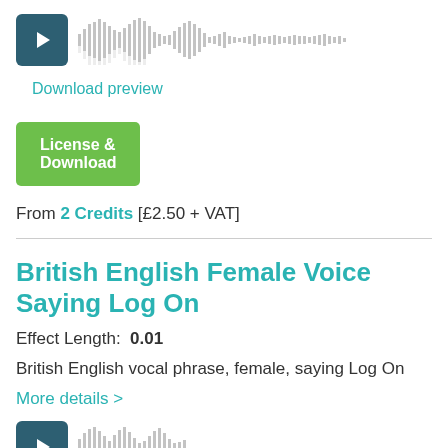[Figure (other): Audio player with dark teal play button and waveform visualization]
Download preview
[Figure (other): Green License & Download button and heart/plus icon]
From 2 Credits [£2.50 + VAT]
British English Female Voice Saying Log On
Effect Length:  0.01
British English vocal phrase, female, saying Log On
More details >
[Figure (other): Audio player with dark teal play button and waveform visualization (second item)]